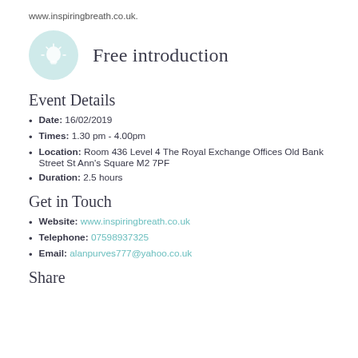www.inspiringbreath.co.uk.
[Figure (illustration): Light bulb icon in a teal/mint circle with 'Free introduction' text beside it]
Event Details
Date: 16/02/2019
Times: 1.30 pm - 4.00pm
Location: Room 436 Level 4 The Royal Exchange Offices Old Bank Street St Ann’s Square M2 7PF
Duration: 2.5 hours
Get in Touch
Website: www.inspiringbreath.co.uk
Telephone: 07598937325
Email: alanpurves777@yahoo.co.uk
Share